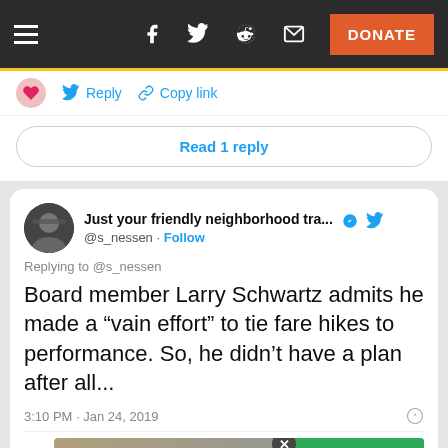Navigation bar with hamburger menu, social icons (Facebook, Twitter, Reddit, Email), and DONATE button
Reply  Copy link
Read 1 reply
Just your friendly neighborhood tra...
@s_nessen · Follow
Replying to @s_nessen
Board member Larry Schwartz admits he made a “vain effort” to tie fare hikes to performance. So, he didn’t have a plan after all...
3:10 PM · Jan 24, 2019
[Figure (screenshot): Advertisement banner for Apartments.com with a city building photo, green overlay with Apartments.com logo and Search Now button, and a close X button]